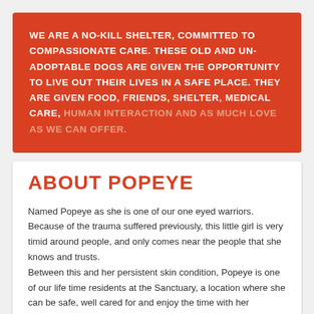WE ARE A NO-KILL SHELTER, COMMITTED TO COMPASSIONATE CARE. THESE OLD AND UN-ADOPTABLE DOGS ARE GIVEN THE OPPORTUNITY TO LIVE OUT THEIR LIVES IN A SAFE PLACE. THEY ARE GIVEN FOOD, FRIENDS, SHELTER, MEDICAL CARE, HUMAN INTERACTION AND AS MUCH LOVE AS WE CAN OFFER.
ABOUT POPEYE
Named Popeye as she is one of our one eyed warriors. Because of the trauma suffered previously, this little girl is very timid around people, and only comes near the people that she knows and trusts.
Between this and her persistent skin condition, Popeye is one of our life time residents at the Sanctuary, a location where she can be safe, well cared for and enjoy the time with her